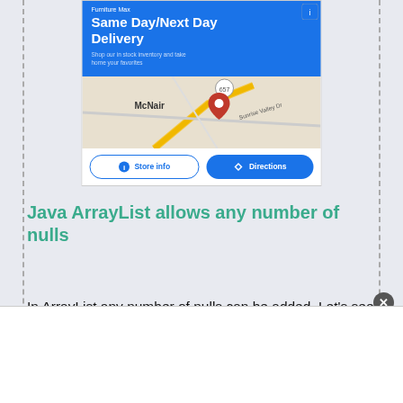[Figure (screenshot): Advertisement for Furniture Max with blue banner reading 'Same Day/Next Day Delivery', a Google Maps snippet showing McNair area near Sunrise Valley Dr, and two buttons: 'Store info' and 'Directions']
Java ArrayList allows any number of nulls
In ArrayList any number of nulls can be added. Let's see it with an example.